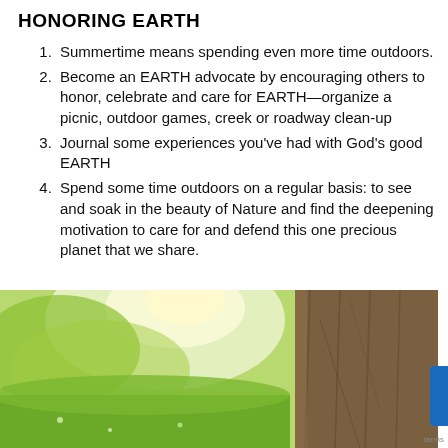HONORING EARTH
Summertime means spending even more time outdoors.
Become an EARTH advocate by encouraging others to honor, celebrate and care for EARTH—organize a picnic, outdoor games, creek or roadway clean-up
Journal some experiences you've had with God's good EARTH
Spend some time outdoors on a regular basis: to see and soak in the beauty of Nature and find the deepening motivation to care for and defend this one precious planet that we share.
[Figure (photo): Outdoor nature photo showing a bright sunlit green meadow with trees on the left and a large brown tree trunk on the right.]